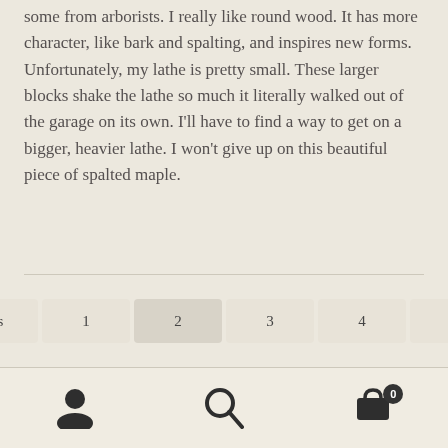some from arborists. I really like round wood. It has more character, like bark and spalting, and inspires new forms. Unfortunately, my lathe is pretty small. These larger blocks shake the lathe so much it literally walked out of the garage on its own. I'll have to find a way to get on a bigger, heavier lathe. I won't give up on this beautiful piece of spalted maple.
Previous 1 2 3 4 Next